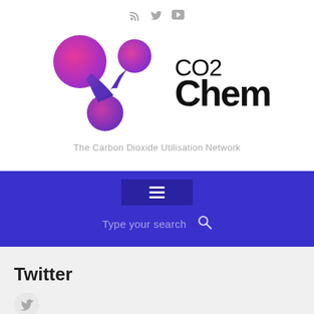[Figure (logo): CO2Chem logo - molecule-style graphic with pink/purple gradient blobs connected by blue stem, alongside bold text CO2 Chem - The Carbon Dioxide Utilisation Network]
The Carbon Dioxide Utilisation Network
[Figure (other): Navigation bar with hamburger menu button and search field reading 'Type your search']
Twitter